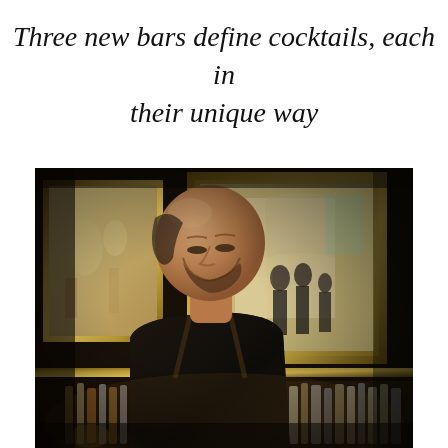Three new bars define cocktails, each in their unique way
[Figure (photo): A bartender — bald man with beard wearing dark shirt with suspenders — looking downward, standing in front of a dimly lit bar with framed paintings on dark walls and a backlit bottle shelf, warm golden atmospheric lighting]